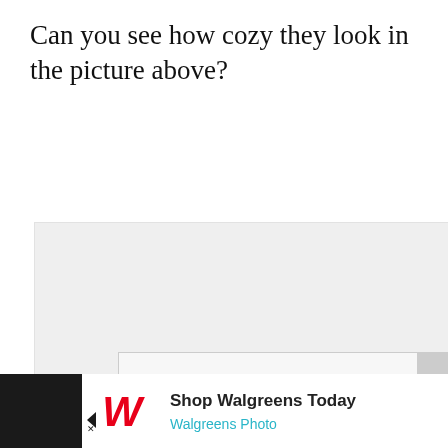Can you see how cozy they look in the picture above?
[Figure (screenshot): Gray placeholder content area box]
[Figure (screenshot): Advertisement banner: 'I Bake COOKIES For A CURE' with 'Haldora, 11 Cancer Survivor', 'So can you!', 'cookies for kids cancer' logo, and a close X button. Blue and green color scheme with a child photo.]
[Figure (screenshot): Sidebar social buttons: blue heart/like button, green circle with number 2, green share button]
[Figure (screenshot): Footer advertisement: 'Shop Walgreens Today' with Walgreens W logo and 'Walgreens Photo' text, navigation arrow icon, and weather/app icon on right side with dark background]